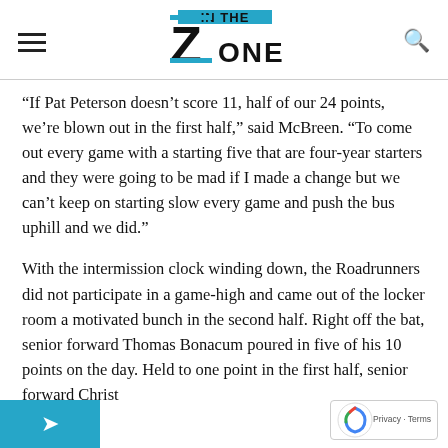IN THE ZONE
“If Pat Peterson doesn’t score 11, half of our 24 points, we’re blown out in the first half,” said McBreen. “To come out every game with a starting five that are four-year starters and they were going to be mad if I made a change but we can’t keep on starting slow every game and push the bus uphill and we did.”
With the intermission clock winding down, the Roadrunners did not participate in a game-high and came out of the locker room a motivated bunch in the second half. Right off the bat, senior forward Thomas Bonacum poured in five of his 10 points on the day. Held to one point in the first half, senior forward Christopher...